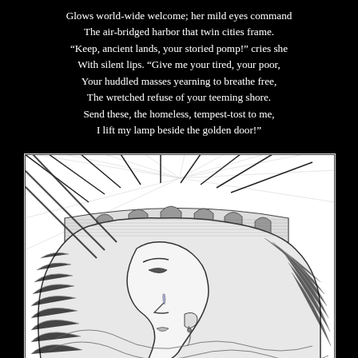Glows world-wide welcome; her mild eyes command
The air-bridged harbor that twin cities frame.
“Keep, ancient lands, your storied pomp!” cries she
With silent lips. “Give me your tired, your poor,
Your huddled masses yearning to breathe free,
The wretched refuse of your teeming shore.
Send these, the homeless, tempest-tost to me,
I lift my lamp beside the golden door!”
[Figure (illustration): Black and white pen-and-ink style illustration of the Statue of Liberty in close-up profile view, showing her face in three-quarter profile with a single tear on her cheek, her crown with pillars, flowing hair with detailed crosshatch shading, and rays of light emanating behind her. The illustration is set within a white-bordered frame on a black background.]